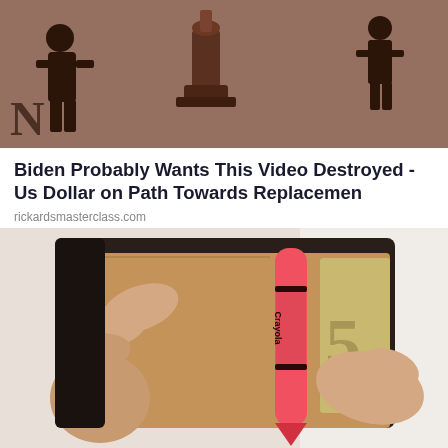[Figure (photo): Top portion of an image showing silhouetted figures and decorative elements with brown/tan tones]
Biden Probably Wants This Video Destroyed - Us Dollar on Path Towards Replacemen
rickardsmasterclass.com
[Figure (photo): Hands opening a black leather wallet containing a Crayola crayon (pink/red) and what appears to be a Euro banknote with the number 5 visible]